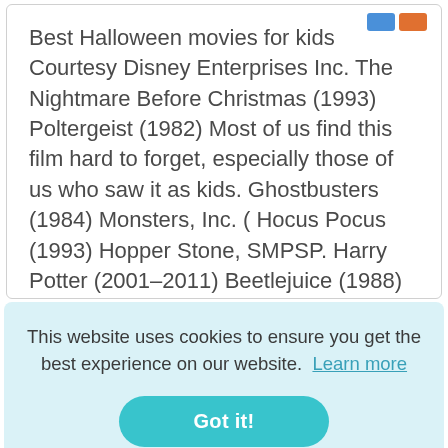Best Halloween movies for kids Courtesy Disney Enterprises Inc. The Nightmare Before Christmas (1993) Poltergeist (1982) Most of us find this film hard to forget, especially those of us who saw it as kids. Ghostbusters (1984) Monsters, Inc. ( Hocus Pocus (1993) Hopper Stone, SMPSP. Harry Potter (2001–2011) Beetlejuice (1988)
This website uses cookies to ensure you get the best experience on our website. Learn more
Got it!
Michaels killings occur on the holiday of